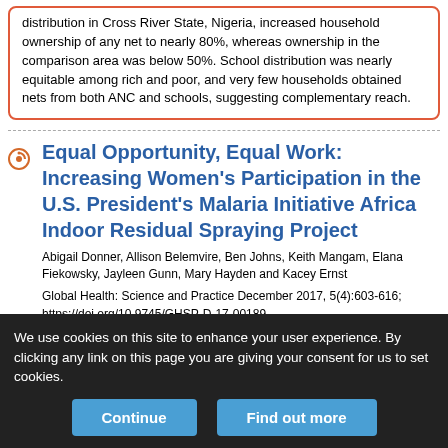distribution in Cross River State, Nigeria, increased household ownership of any net to nearly 80%, whereas ownership in the comparison area was below 50%. School distribution was nearly equitable among rich and poor, and very few households obtained nets from both ANC and schools, suggesting complementary reach.
Equal Opportunity, Equal Work: Increasing Women's Participation in the U.S. President's Malaria Initiative Africa Indoor Residual Spraying Project
Abigail Donner, Allison Belemvire, Ben Johns, Keith Mangam, Elana Fiekowsky, Jayleen Gunn, Mary Hayden and Kacey Ernst
Global Health: Science and Practice December 2017, 5(4):603-616; https://doi.org/10.9745/GHSP-D-17-00189
We use cookies on this site to enhance your user experience. By clicking any link on this page you are giving your consent for us to set cookies.